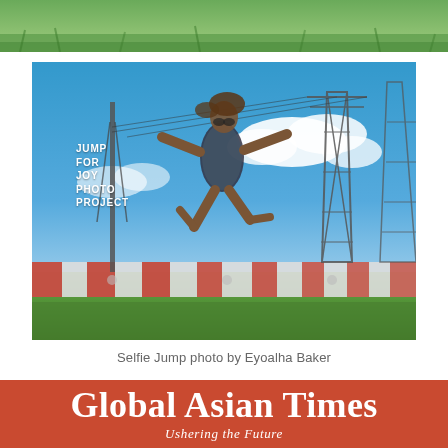[Figure (photo): Top cropped photo showing green grass and outdoor scenery, partial view at top of page]
[Figure (photo): Main photo: a person jumping in the air outdoors near power line towers and a red/white striped barrier wall, blue sky with clouds. Text overlay reads JUMP FOR JOY PHOTO PROJECT]
Selfie Jump photo by Eyoalha Baker
Global Asian Times
Ushering the Future